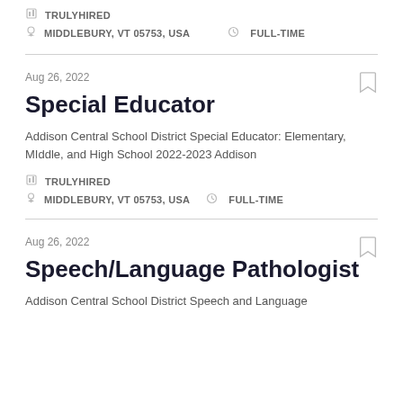TRULYHIRED
MIDDLEBURY, VT 05753, USA   FULL-TIME
Aug 26, 2022
Special Educator
Addison Central School District Special Educator: Elementary, MIddle, and High School 2022-2023 Addison
TRULYHIRED
MIDDLEBURY, VT 05753, USA   FULL-TIME
Aug 26, 2022
Speech/Language Pathologist
Addison Central School District Speech and Language